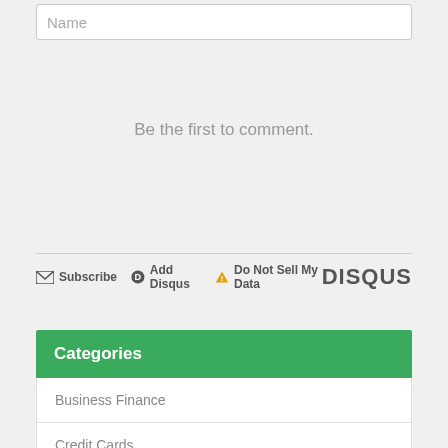Name
Be the first to comment.
Subscribe  Add Disqus  Do Not Sell My Data   DISQUS
Business Finance
Credit Cards
Categories